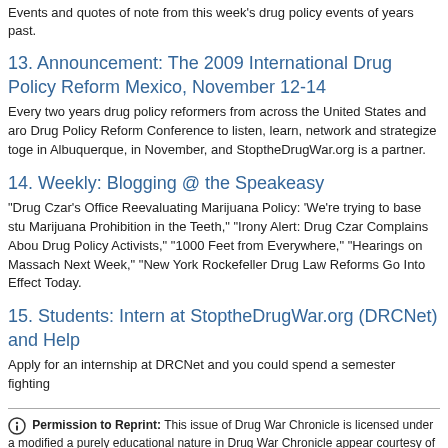Events and quotes of note from this week's drug policy events of years past.
13. Announcement: The 2009 International Drug Policy Reform Mexico, November 12-14
Every two years drug policy reformers from across the United States and aro Drug Policy Reform Conference to listen, learn, network and strategize toge in Albuquerque, in November, and StoptheDrugWar.org is a partner.
14. Weekly: Blogging @ the Speakeasy
"Drug Czar's Office Reevaluating Marijuana Policy: 'We're trying to base stu Marijuana Prohibition in the Teeth," "Irony Alert: Drug Czar Complains Abou Drug Policy Activists," "1000 Feet from Everywhere," "Hearings on Massach Next Week," "New York Rockefeller Drug Law Reforms Go Into Effect Today.
15. Students: Intern at StoptheDrugWar.org (DRCNet) and Help
Apply for an internship at DRCNet and you could spend a semester fighting
Permission to Reprint: This issue of Drug War Chronicle is licensed under a modified a purely educational nature in Drug War Chronicle appear courtesy of DRCNet Foundation